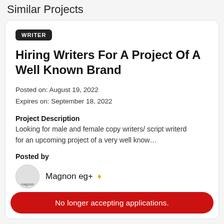Similar Projects
WRITER
Hiring Writers For A Project Of A Well Known Brand
Posted on: August 19, 2022
Expires on: September 18, 2022
Project Description
Looking for male and female copy writers/ script writerd for an upcoming project of a very well know…
Posted by
Magnon eg+
No longer accepting applications.